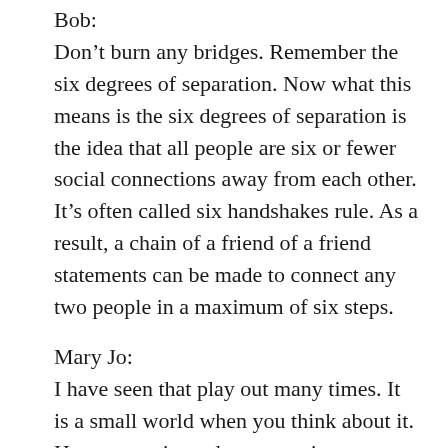Bob:
Don’t burn any bridges. Remember the six degrees of separation. Now what this means is the six degrees of separation is the idea that all people are six or fewer social connections away from each other. It’s often called six handshakes rule. As a result, a chain of a friend of a friend statements can be made to connect any two people in a maximum of six steps.
Mary Jo:
I have seen that play out many times. It is a small world when you think about it. How many times do you run into somebody that you know at the most bizarre places or they know somebody you know? So be careful. Don’t burn any bridges. I think that’s a great one. And you know, woulda, coulda, shoulda – don’t second